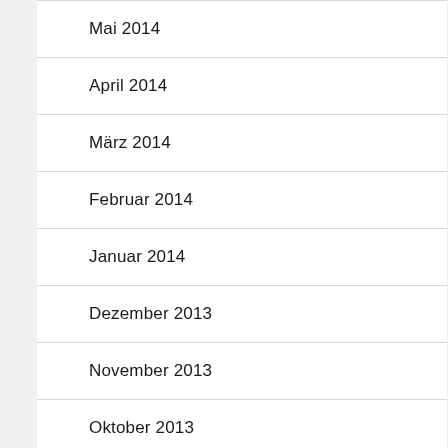Mai 2014
April 2014
März 2014
Februar 2014
Januar 2014
Dezember 2013
November 2013
Oktober 2013
September 2013